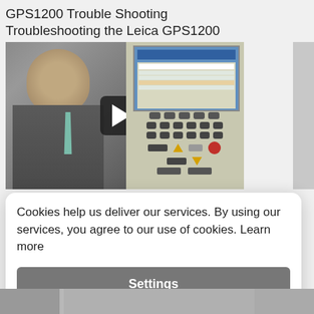GPS1200 Trouble Shooting
Troubleshooting the Leica GPS1200
[Figure (screenshot): Video thumbnail showing a man in a suit presenting next to a screen displaying a Leica GPS1200 device, with a play button overlay]
Cookies help us deliver our services. By using our services, you agree to our use of cookies. Learn more
Settings
Agree